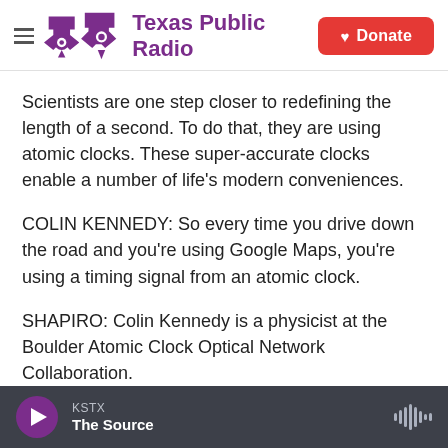Texas Public Radio | Donate
Scientists are one step closer to redefining the length of a second. To do that, they are using atomic clocks. These super-accurate clocks enable a number of life's modern conveniences.
COLIN KENNEDY: So every time you drive down the road and you're using Google Maps, you're using a timing signal from an atomic clock.
SHAPIRO: Colin Kennedy is a physicist at the Boulder Atomic Clock Optical Network Collaboration.
KSTX — The Source